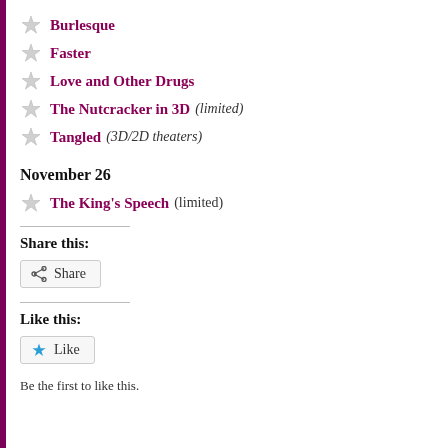Burlesque
Faster
Love and Other Drugs
The Nutcracker in 3D (limited)
Tangled (3D/2D theaters)
November 26
The King's Speech (limited)
Share this:
Share
Like this:
Like
Be the first to like this.